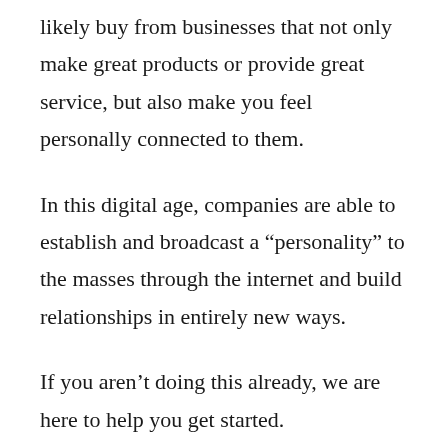likely buy from businesses that not only make great products or provide great service, but also make you feel personally connected to them.
In this digital age, companies are able to establish and broadcast a “personality” to the masses through the internet and build relationships in entirely new ways.
If you aren’t doing this already, we are here to help you get started.
In this article, we are going to provide you